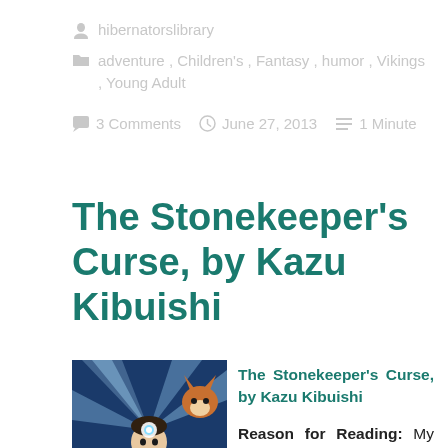hibernatorslibrary
adventure, Children's, Fantasy, humor, Vikings, Young Adult
3 Comments   June 27, 2013   1 Minute
The Stonekeeper's Curse, by Kazu Kibuishi
[Figure (illustration): Book cover of Amulet: The Stonekeeper's Curse by Kazu Kibuishi, showing anime-style characters with a glowing amulet stone]
The Stonekeeper's Curse, by Kazu Kibuishi
Reason for Reading: My nephew loved this series 🙂